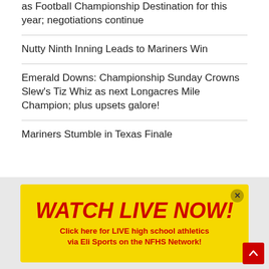as Football Championship Destination for this year; negotiations continue
Nutty Ninth Inning Leads to Mariners Win
Emerald Downs: Championship Sunday Crowns Slew's Tiz Whiz as next Longacres Mile Champion; plus upsets galore!
Mariners Stumble in Texas Finale
[Figure (infographic): Yellow advertisement banner with red bold italic text 'WATCH LIVE NOW!' and red subtitle 'Click here for LIVE high school athletics via Eli Sports on the NFHS Network!' with a close button (X) and a red scroll-to-top button.]